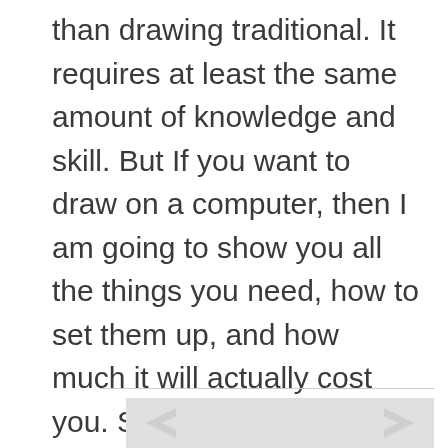than drawing traditional. It requires at least the same amount of knowledge and skill. But If you want to draw on a computer, then I am going to show you all the things you need, how to set them up, and how much it will actually cost you. So let´s get started!
[Figure (photo): A light gray image area with faint arrow or hand shapes visible, positioned at the bottom of the page below a horizontal divider line.]